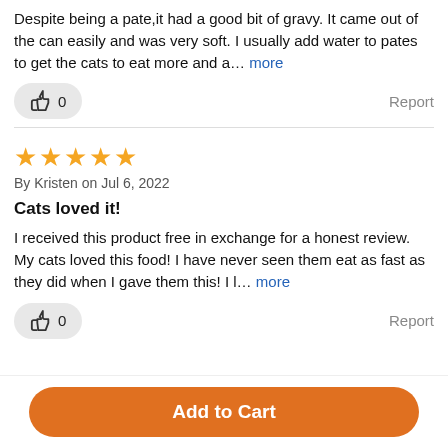Despite being a pate,it had a good bit of gravy. It came out of the can easily and was very soft. I usually add water to pates to get the cats to eat more and a… more
👍 0
Report
★★★★★
By Kristen on Jul 6, 2022
Cats loved it!
I received this product free in exchange for a honest review. My cats loved this food! I have never seen them eat as fast as they did when I gave them this! I l… more
👍 0
Report
Add to Cart